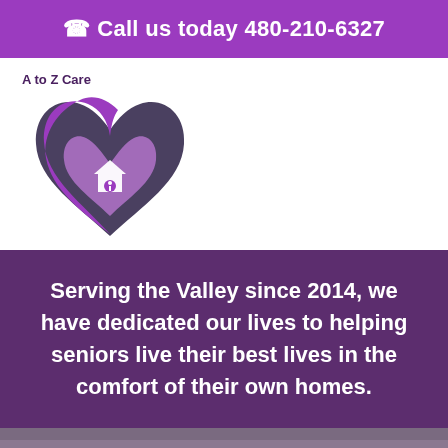Call us today 480-210-6327
[Figure (logo): A to Z Care logo: a purple and dark grey heart shape with a house/info icon inside]
Serving the Valley since 2014, we have dedicated our lives to helping seniors live their best lives in the comfort of their own homes.